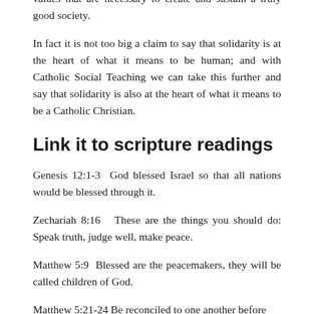sense solidarity includes all the other principles and values that are necessary to create and sustain a truly good society.
In fact it is not too big a claim to say that solidarity is at the heart of what it means to be human; and with Catholic Social Teaching we can take this further and say that solidarity is also at the heart of what it means to be a Catholic Christian.
Link it to scripture readings
Genesis 12:1-3  God blessed Israel so that all nations would be blessed through it.
Zechariah 8:16   These are the things you should do: Speak truth, judge well, make peace.
Matthew 5:9  Blessed are the peacemakers, they will be called children of God.
Matthew 5:21-24  Be reconciled to one another before